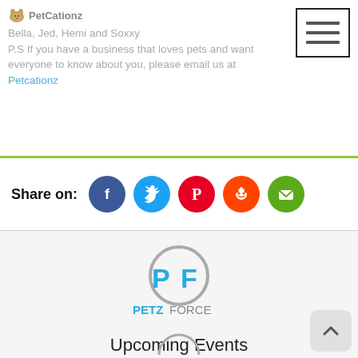Bella, Jed, Hemi and Soxxy
P.S If you have a business that loves pets and want everyone to know about you, please email us at Petcationz
[Figure (screenshot): Hamburger menu icon with three horizontal lines inside a black border rectangle]
Share on:
[Figure (infographic): Social share icons: Facebook (blue circle), Twitter (cyan circle), Pinterest (red circle), Reddit (orange-red circle), Email (green circle)]
[Figure (logo): PetzForce logo: a gray circle with PF letters in blue, and PETZFORCE text below in blue and gray]
Upcoming Events
There are no upcoming events at this time.